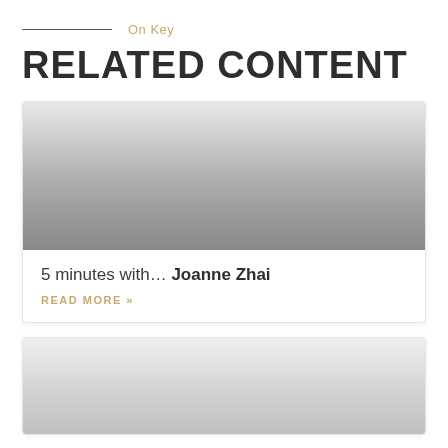On Key
RELATED CONTENT
[Figure (photo): Placeholder image for article card, grey gradient]
5 minutes with… Joanne Zhai
READ MORE »
[Figure (photo): Placeholder image for second article card, grey gradient]